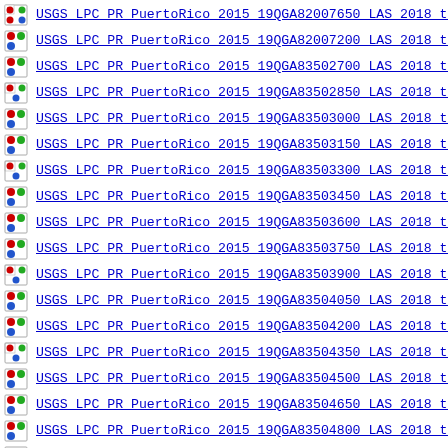USGS LPC PR PuertoRico 2015 19QGA82007650 LAS 2018 th
USGS LPC PR PuertoRico 2015 19QGA82007200 LAS 2018 th
USGS LPC PR PuertoRico 2015 19QGA83502700 LAS 2018 th
USGS LPC PR PuertoRico 2015 19QGA83502850 LAS 2018 th
USGS LPC PR PuertoRico 2015 19QGA83503000 LAS 2018 th
USGS LPC PR PuertoRico 2015 19QGA83503150 LAS 2018 th
USGS LPC PR PuertoRico 2015 19QGA83503300 LAS 2018 th
USGS LPC PR PuertoRico 2015 19QGA83503450 LAS 2018 th
USGS LPC PR PuertoRico 2015 19QGA83503600 LAS 2018 th
USGS LPC PR PuertoRico 2015 19QGA83503750 LAS 2018 th
USGS LPC PR PuertoRico 2015 19QGA83503900 LAS 2018 th
USGS LPC PR PuertoRico 2015 19QGA83504050 LAS 2018 th
USGS LPC PR PuertoRico 2015 19QGA83504200 LAS 2018 th
USGS LPC PR PuertoRico 2015 19QGA83504350 LAS 2018 th
USGS LPC PR PuertoRico 2015 19QGA83504500 LAS 2018 th
USGS LPC PR PuertoRico 2015 19QGA83504650 LAS 2018 th
USGS LPC PR PuertoRico 2015 19QGA83504800 LAS 2018 th
USGS LPC PR PuertoRico 2015 19QGA83504950 LAS 2018 th